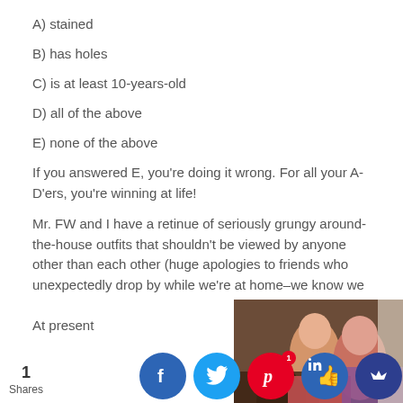A) stained
B) has holes
C) is at least 10-years-old
D) all of the above
E) none of the above
If you answered E, you're doing it wrong. For all your A-D'ers, you're winning at life!
Mr. FW and I have a retinue of seriously grungy around-the-house outfits that shouldn't be viewed by anyone other than each other (huge apologies to friends who unexpectedly drop by while we're at home–we know we look terrible).
At present
[Figure (photo): Photo of people, partially visible at bottom right of page]
[Figure (infographic): Social share buttons: Facebook, Twitter, Pinterest (1 share), Like, and crown icon. Share count: 1 Shares.]